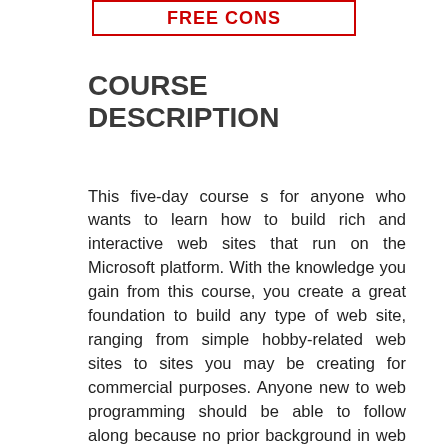COURSE DESCRIPTION
This five-day course s for anyone who wants to learn how to build rich and interactive web sites that run on the Microsoft platform. With the knowledge you gain from this course, you create a great foundation to build any type of web site, ranging from simple hobby-related web sites to sites you may be creating for commercial purposes. Anyone new to web programming should be able to follow along because no prior background in web development is assumed although it helps if you do have a basic understanding of HTML and the web in general. The course starts at the very beginning of web